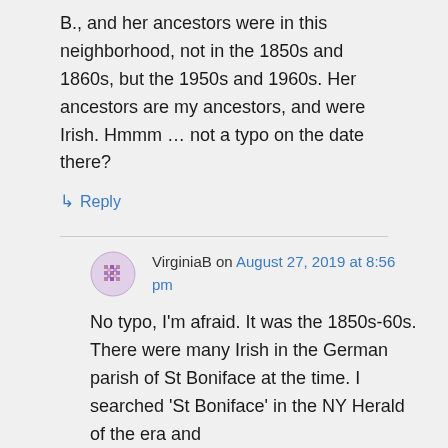B., and her ancestors were in this neighborhood, not in the 1850s and 1860s, but the 1950s and 1960s. Her ancestors are my ancestors, and were Irish. Hmmm … not a typo on the date there?
↳ Reply
VirginiaB on August 27, 2019 at 8:56 pm
No typo, I'm afraid. It was the 1850s-60s. There were many Irish in the German parish of St Boniface at the time. I searched 'St Boniface' in the NY Herald of the era and